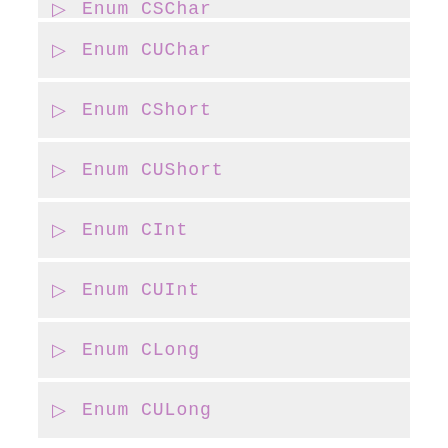Enum CUChar
Enum CShort
Enum CUShort
Enum CInt
Enum CUInt
Enum CLong
Enum CULong
Enum CLLong
Enum CULLong
Enum CBool
Enum CFloat
Enum CDouble
Enum CPtrdiff